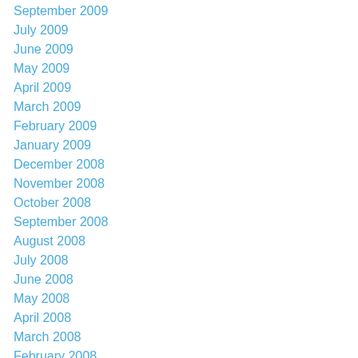September 2009
July 2009
June 2009
May 2009
April 2009
March 2009
February 2009
January 2009
December 2008
November 2008
October 2008
September 2008
August 2008
July 2008
June 2008
May 2008
April 2008
March 2008
February 2008
January 2008